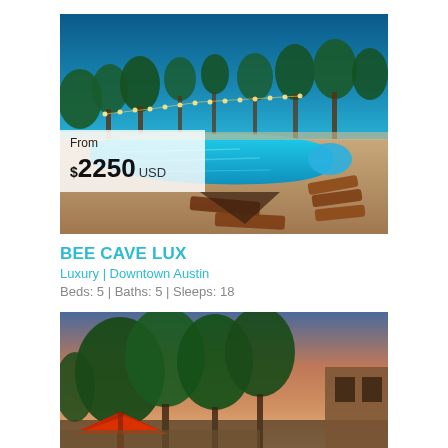[Figure (photo): Night-time outdoor pool area with string lights, lounge chairs, and trees. Luxury vacation rental property.]
From
$ 2250 USD
BEE CAVE LUX
Luxury | Downtown Austin
Beds: 5 | Baths: 5 | Sleeps: 18
[Figure (photo): Exterior dusk view of a luxury vacation rental home with trees and colorful sky.]